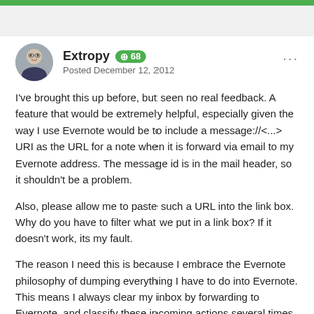Extropy  +68
Posted December 12, 2012
I've brought this up before, but seen no real feedback. A feature that would be extremely helpful, especially given the way I use Evernote would be to include a message://<...> URI as the URL for a note when it is forward via email to my Evernote address. The message id is in the mail header, so it shouldn't be a problem.
Also, please allow me to paste such a URL into the link box. Why do you have to filter what we put in a link box? If it doesn't work, its my fault.
The reason I need this is because I embrace the Evernote philosophy of dumping everything I have to do into Evernote. This means I always clear my inbox by forwarding to Evernote, and classify these incoming actions several times a day as I work.
The problem comes when I need to answer these emails, which may even be weeks or months old. I have to look at the sender, subject